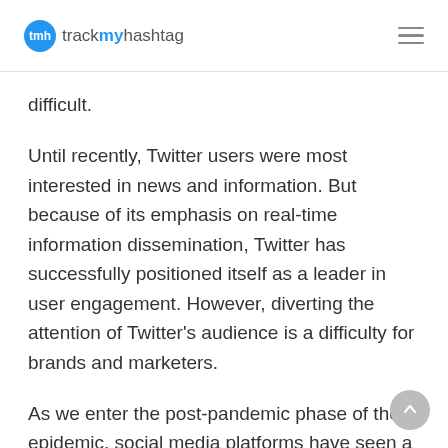trackmyhashtag
difficult.
Until recently, Twitter users were most interested in news and information. But because of its emphasis on real-time information dissemination, Twitter has successfully positioned itself as a leader in user engagement. However, diverting the attention of Twitter's audience is a difficulty for brands and marketers.
As we enter the post-pandemic phase of the epidemic, social media platforms have seen a dramatic shift in audience behavior. Brands and organizations have